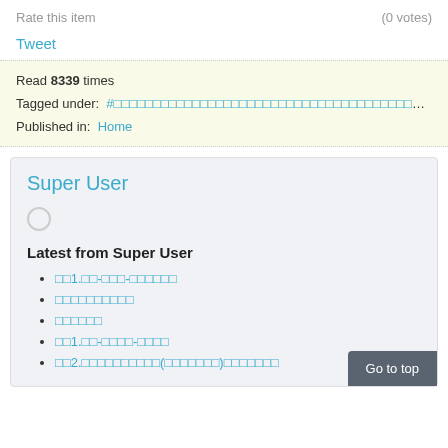Rate this item   (0 votes)
Tweet
Read 8339 times
Tagged under:  #□□□□□□□□□□□□□□□□□□□□□□□□□□□□□□□□□□□□□□□□□□□□□□□□□□□□□□□□□□□□□□□□□□
Published in:  Home
Super User
Latest from Super User
□□1.□□-□□□-□□□□□□
□□□□□□□□□□
□□□□□□
□□1.□□-□□□□-□□□□
□□2.□□□□□□□□□□(□□□□□□□)□□□□□□□
Go to top